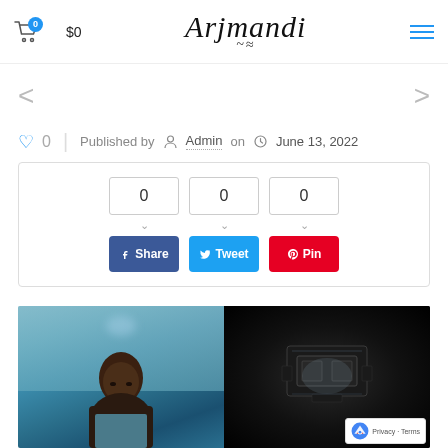$0 Arjmandi [hamburger menu]
< [left arrow navigation] > [right arrow navigation]
♡ 0 | Published by Admin on June 13, 2022
[Figure (infographic): Social share widget with count boxes showing 0, 0, 0 and Share, Tweet, Pin buttons in blue, light-blue, and red respectively]
[Figure (photo): Left: Photo of a bald Black man looking at camera in a blue-toned environment. Right: Dark photo of what appears to be an engine or mechanical device with some glow lighting. reCAPTCHA badge in bottom-right corner with Privacy and Terms links.]